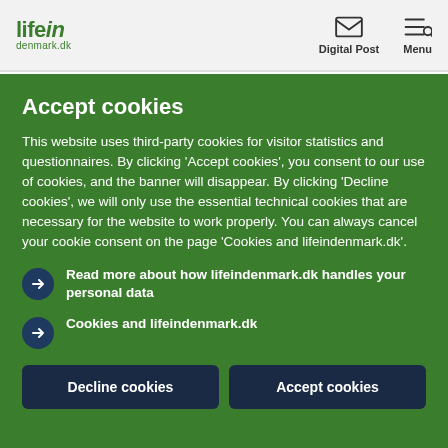lifein denmark.dk | Digital Post | Menu
Accept cookies
This website uses third-party cookies for visitor statistics and questionnaires. By clicking 'Accept cookies', you consent to our use of cookies, and the banner will disappear. By clicking 'Decline cookies', we will only use the essential technical cookies that are necessary for the website to work properly. You can always cancel your cookie consent on the page 'Cookies and lifeindenmark.dk'.
Read more about how lifeindenmark.dk handles your personal data
Cookies and lifeindenmark.dk
Decline cookies | Accept cookies